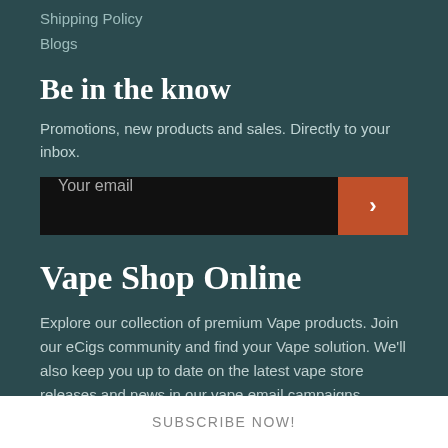Shipping Policy
Blogs
Be in the know
Promotions, new products and sales. Directly to your inbox.
Your email
Vape Shop Online
Explore our collection of premium Vape products. Join our eCigs community and find your Vape solution. We'll also keep you up to date on the latest vape store releases and news in our vape email campaigns.
SUBSCRIBE NOW!